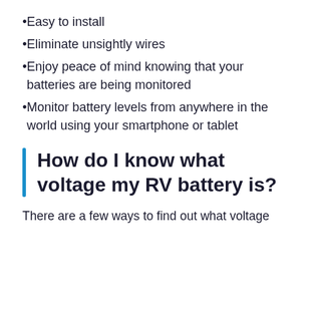Easy to install
Eliminate unsightly wires
Enjoy peace of mind knowing that your batteries are being monitored
Monitor battery levels from anywhere in the world using your smartphone or tablet
How do I know what voltage my RV battery is?
There are a few ways to find out what voltage your RV battery is.